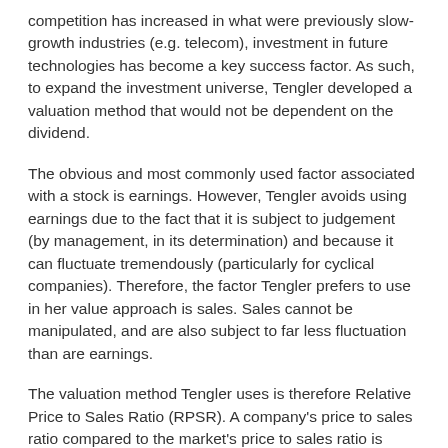competition has increased in what were previously slow-growth industries (e.g. telecom), investment in future technologies has become a key success factor. As such, to expand the investment universe, Tengler developed a valuation method that would not be dependent on the dividend.
The obvious and most commonly used factor associated with a stock is earnings. However, Tengler avoids using earnings due to the fact that it is subject to judgement (by management, in its determination) and because it can fluctuate tremendously (particularly for cyclical companies). Therefore, the factor Tengler prefers to use in her value approach is sales. Sales cannot be manipulated, and are also subject to far less fluctuation than are earnings.
The valuation method Tengler uses is therefore Relative Price to Sales Ratio (RPSR). A company's price to sales ratio compared to the market's price to sales ratio is computed on a historical basis. When the company trades at a low price to sales ratio as compared to the market's price to sales ratio on a historical basis, it becomes a buy candidate.